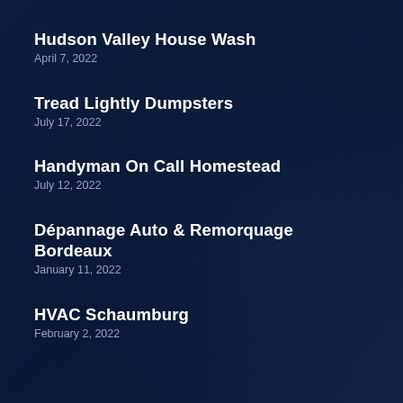Hudson Valley House Wash
April 7, 2022
Tread Lightly Dumpsters
July 17, 2022
Handyman On Call Homestead
July 12, 2022
Dépannage Auto & Remorquage Bordeaux
January 11, 2022
HVAC Schaumburg
February 2, 2022